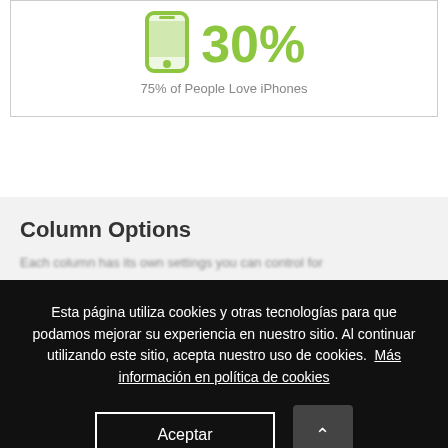[Figure (infographic): Green smartphone icon next to large green '30%' text]
75% of People Love iPhones
Column Options
Esta página utiliza cookies y otras tecnologías para que podamos mejorar su experiencia en nuestro sitio. Al continuar utilizando este sitio, acepta nuestro uso de cookies.  Más información en política de cookies
Aceptar